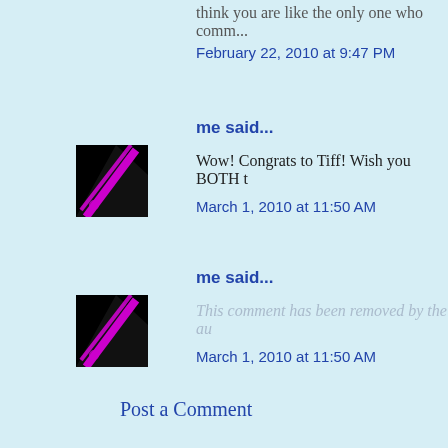think you are like the only one who comm...
February 22, 2010 at 9:47 PM
me said...
Wow! Congrats to Tiff! Wish you BOTH t...
March 1, 2010 at 11:50 AM
me said...
This comment has been removed by the au...
March 1, 2010 at 11:50 AM
Post a Comment